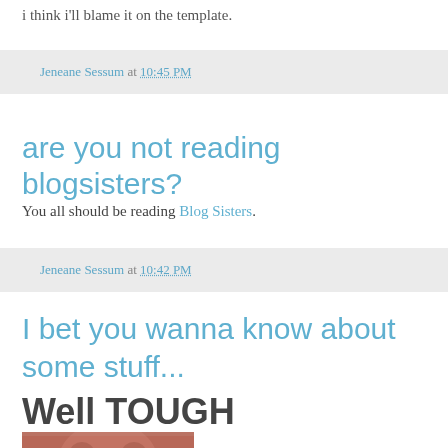i think i'll blame it on the template.
Jeneane Sessum at 10:45 PM
are you not reading blogsisters?
You all should be reading Blog Sisters.
Jeneane Sessum at 10:42 PM
I bet you wanna know about some stuff...
Well TOUGH
[Figure (photo): Partial photo of a person's face, cropped at bottom of page]